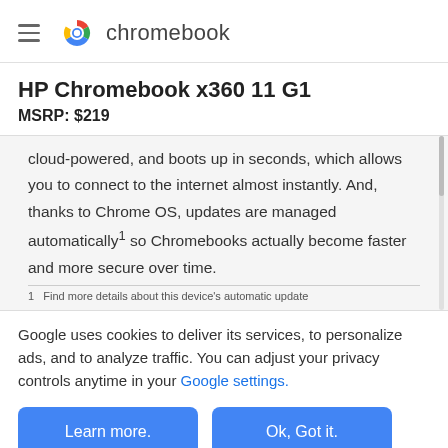chromebook
HP Chromebook x360 11 G1
MSRP: $219
cloud-powered, and boots up in seconds, which allows you to connect to the internet almost instantly. And, thanks to Chrome OS, updates are managed automatically¹ so Chromebooks actually become faster and more secure over time.
1   Find more details about this device’s automatic update
Google uses cookies to deliver its services, to personalize ads, and to analyze traffic. You can adjust your privacy controls anytime in your Google settings.
Learn more.
Ok, Got it.